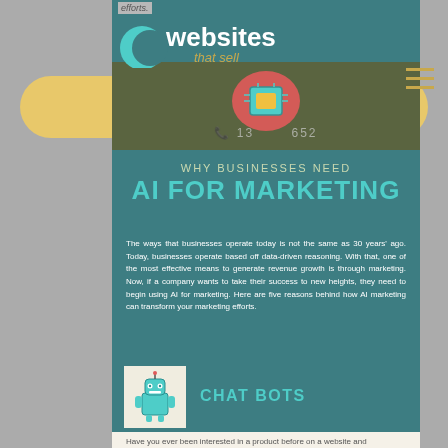efforts.
[Figure (logo): Websites that sell logo with teal crescent and text 'websites that sell']
[Figure (infographic): AI brain circuit board icon with phone number partially visible, on dark olive banner with yellow oval background]
WHY BUSINESSES NEED AI FOR MARKETING
The ways that businesses operate today is not the same as 30 years' ago. Today, businesses operate based off data-driven reasoning. With that, one of the most effective means to generate revenue growth is through marketing. Now, if a company wants to take their success to new heights, they need to begin using AI for marketing. Here are five reasons behind how AI marketing can transform your marketing efforts.
[Figure (illustration): Robot chatbot icon in white/green colors on cream background box]
CHAT BOTS
Have you ever been interested in a product before on a website and